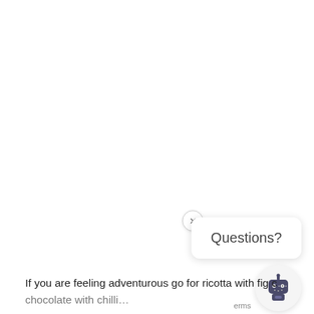[Figure (screenshot): Chat widget popup with close (×) button and 'Questions?' speech bubble, plus a robot/bot icon in the bottom right corner]
If you are feeling adventurous go for ricotta with fig c… and chocolate with chilli…